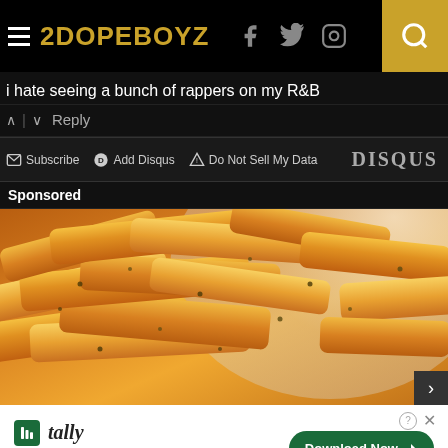2DOPEBOYZ
i hate seeing a bunch of rappers on my R&B
Reply
Subscribe  Add Disqus  Do Not Sell My Data  DISQUS
Sponsored
[Figure (photo): Close-up photo of seasoned french fries piled on a white plate, golden-yellow color with visible seasoning spices]
[Figure (infographic): Advertisement banner for Tally app - Fast credit card payoff, with Download Now button]